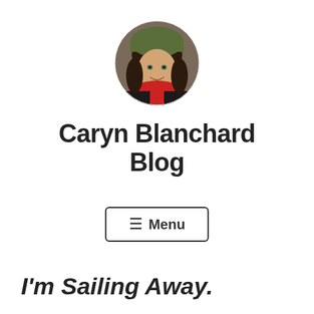[Figure (photo): Circular profile photo of a woman wearing a green hat and red scarf, smiling at the camera outdoors.]
Caryn Blanchard Blog
☰ Menu
I'm Sailing Away.